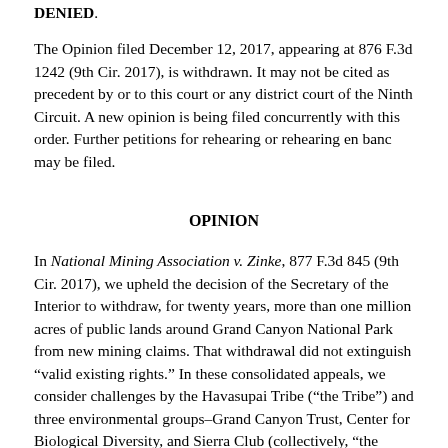DENIED.
The Opinion filed December 12, 2017, appearing at 876 F.3d 1242 (9th Cir. 2017), is withdrawn. It may not be cited as precedent by or to this court or any district court of the Ninth Circuit. A new opinion is being filed concurrently with this order. Further petitions for rehearing or rehearing en banc may be filed.
OPINION
In National Mining Association v. Zinke, 877 F.3d 845 (9th Cir. 2017), we upheld the decision of the Secretary of the Interior to withdraw, for twenty years, more than one million acres of public lands around Grand Canyon National Park from new mining claims. That withdrawal did not extinguish “valid existing rights.” In these consolidated appeals, we consider challenges by the Havasupai Tribe (“the Tribe”) and three environmental groups–Grand Canyon Trust, Center for Biological Diversity, and Sierra Club (collectively, “the Trust”), to the